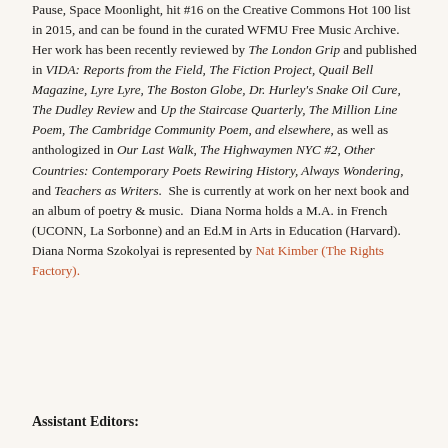Pause, Space Moonlight, hit #16 on the Creative Commons Hot 100 list in 2015, and can be found in the curated WFMU Free Music Archive. Her work has been recently reviewed by The London Grip and published in VIDA: Reports from the Field, The Fiction Project, Quail Bell Magazine, Lyre Lyre, The Boston Globe, Dr. Hurley's Snake Oil Cure, The Dudley Review and Up the Staircase Quarterly, The Million Line Poem, The Cambridge Community Poem, and elsewhere, as well as anthologized in Our Last Walk, The Highwaymen NYC #2, Other Countries: Contemporary Poets Rewiring History, Always Wondering, and Teachers as Writers. She is currently at work on her next book and an album of poetry & music. Diana Norma holds a M.A. in French (UCONN, La Sorbonne) and an Ed.M in Arts in Education (Harvard). Diana Norma Szokolyai is represented by Nat Kimber (The Rights Factory).
Assistant Editors: